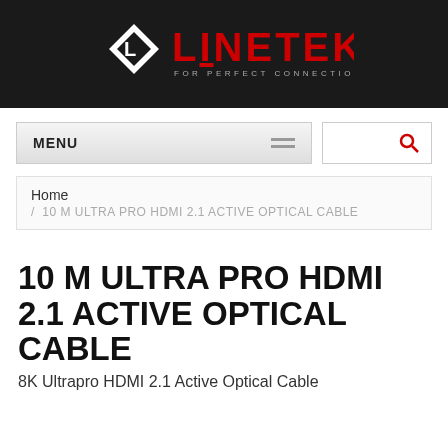[Figure (logo): LINETEK logo - diamond shape with L letter on dark background, red LINETEK text, tagline FOR PERFECT CONNECTION]
MENU | search bar with magnifying glass icon
Home / 10 M ULTRA PRO HDMI 2.1 ACTIVE OPTICAL CABLE
10 M ULTRA PRO HDMI 2.1 ACTIVE OPTICAL CABLE
8K Ultrapro HDMI 2.1 Active Optical Cable